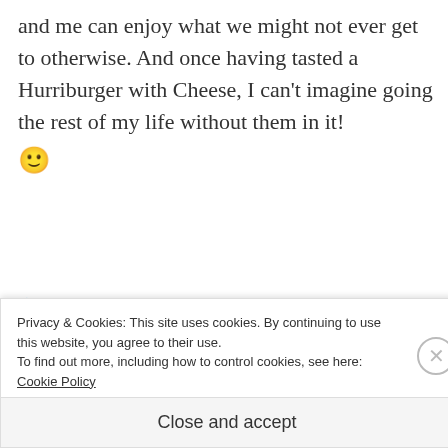and me can enjoy what we might not ever get to otherwise. And once having tasted a Hurriburger with Cheese, I can't imagine going the rest of my life without them in it! 🙂
★ Like
REPLY
Advertisements
Privacy & Cookies: This site uses cookies. By continuing to use this website, you agree to their use.
To find out more, including how to control cookies, see here: Cookie Policy
Close and accept